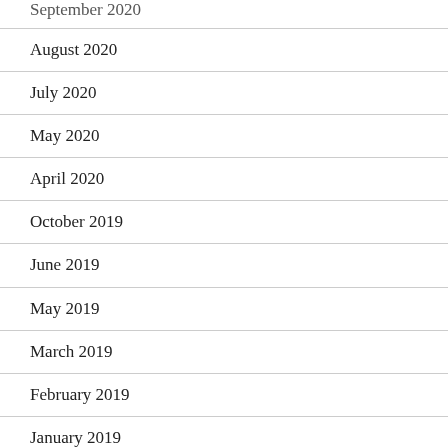September 2020
August 2020
July 2020
May 2020
April 2020
October 2019
June 2019
May 2019
March 2019
February 2019
January 2019
December 2018